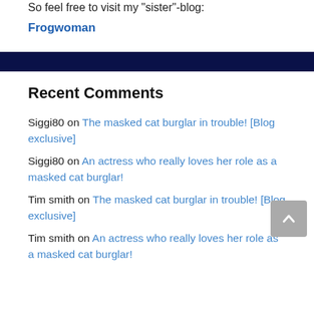So feel free to visit my "sister"-blog:
Frogwoman
Recent Comments
Siggi80 on The masked cat burglar in trouble! [Blog exclusive]
Siggi80 on An actress who really loves her role as a masked cat burglar!
Tim smith on The masked cat burglar in trouble! [Blog exclusive]
Tim smith on An actress who really loves her role as a masked cat burglar!